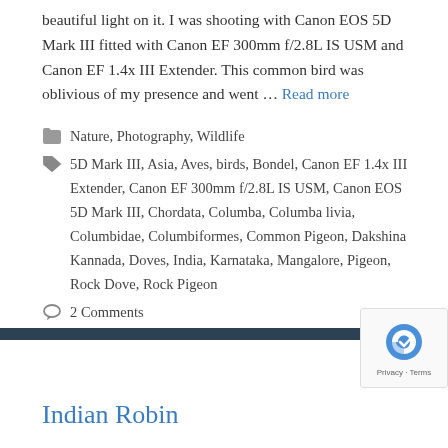beautiful light on it. I was shooting with Canon EOS 5D Mark III fitted with Canon EF 300mm f/2.8L IS USM and Canon EF 1.4x III Extender. This common bird was oblivious of my presence and went … Read more
Categories: Nature, Photography, Wildlife
Tags: 5D Mark III, Asia, Aves, birds, Bondel, Canon EF 1.4x III Extender, Canon EF 300mm f/2.8L IS USM, Canon EOS 5D Mark III, Chordata, Columba, Columba livia, Columbidae, Columbiformes, Common Pigeon, Dakshina Kannada, Doves, India, Karnataka, Mangalore, Pigeon, Rock Dove, Rock Pigeon
2 Comments
Indian Robin